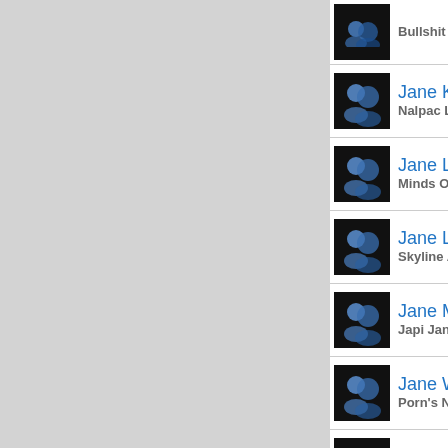Bullshit Comp...
Jane Kubis — Nalpac Ltd
Jane Lloyd — Minds Over M...
Jane Luv — Skyline Apps
Jane Morg... — Japi Jane
Jane Way... — Porn's Not De...
JaneaJolie... — Janea Jolie
janeld15 — Netbilling
Janell